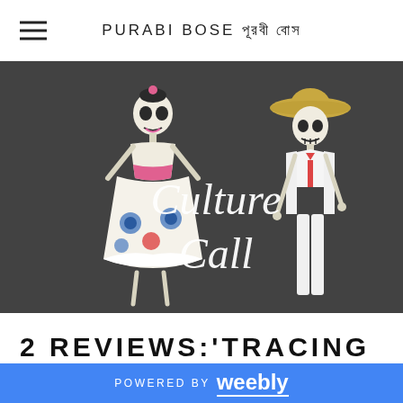PURABI BOSE পূরবী বোস
[Figure (photo): Photo of two Day of the Dead skeleton figurines against a dark background — a female figure in colorful traditional dress on the left, and a male figure in white suit and sombrero on the right. Text overlay reads 'Culture Call']
2 REVIEWS:'TRACING THE ERA OF URDU
POWERED BY weebly